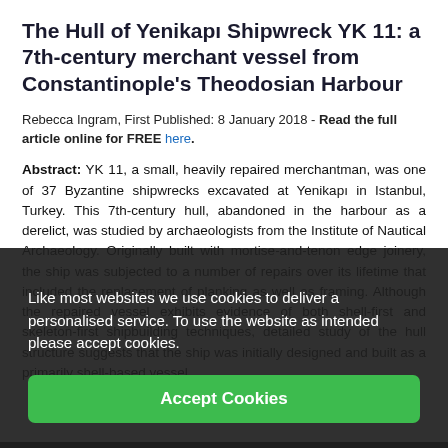The Hull of Yenikapı Shipwreck YK 11: a 7th-century merchant vessel from Constantinople's Theodosian Harbour
Rebecca Ingram, First Published: 8 January 2018 - Read the full article online for FREE here.
Abstract: YK 11, a small, heavily repaired merchantman, was one of 37 Byzantine shipwrecks excavated at Yenikapı in Istanbul, Turkey. This 7th-century hull, abandoned in the harbour as a derelict, was studied by archaeologists from the Institute of Nautical Archaeology. Originally built with mortise-and-tenon edge joinery, the ship was subjected to a number of repairs over its lifetime that included the replacement of planking as well as framing. Although the repaired vessel exhibits evidence of both shell-first and skeleton-first shipbuilding techniques, detailed study of the hull structure suggests that the ship was initially designed and built as a primarily shell-based vessel.
Like most websites we use cookies to deliver a personalised service. To use the website as intended please accept cookies.
Accept Cookies